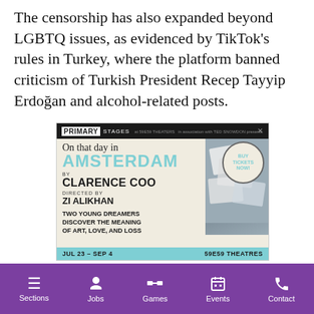The censorship has also expanded beyond LGBTQ issues, as evidenced by TikTok's rules in Turkey, where the platform banned criticism of Turkish President Recep Tayyip Erdoğan and alcohol-related posts.
[Figure (illustration): Advertisement for Primary Stages theater production 'On that day in AMSTERDAM' by Clarence Coo, directed by Zi Alikhan. Shows theater poster with handwritten title text, teal AMSTERDAM lettering, polaroid-style photos of Amsterdam, buy tickets now circle badge, tagline 'Two Young Dreamers Discover the Meaning of Art, Love, and Loss', and date bar 'JUL 23 – SEP 4  59E59 THEATRES'.]
Sections  Jobs  Games  Events  Contact